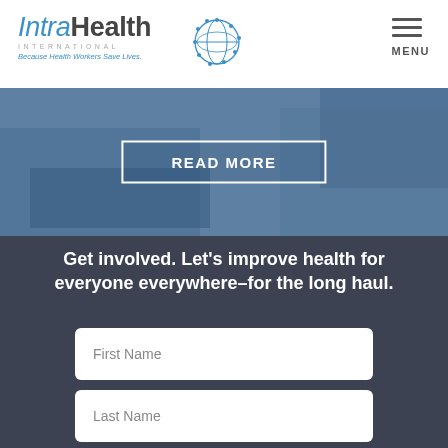IntraHealth International — Because Health Workers Save Lives. MENU
[Figure (screenshot): Hero banner image showing blurred healthcare scene with hands and a child, overlaid with a blue tint and a 'READ MORE' button in white outlined rectangle]
Get involved. Let's improve health for everyone everywhere–for the long haul.
First Name
Last Name
Email Address*